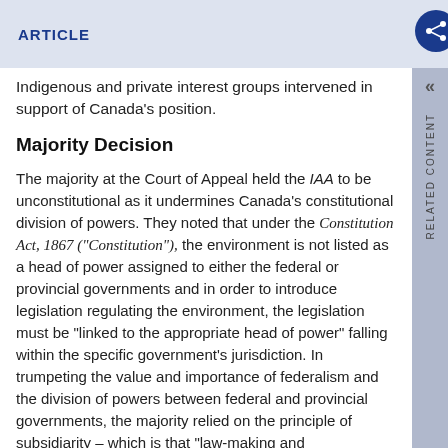ARTICLE
Indigenous and private interest groups intervened in support of Canada's position.
Majority Decision
The majority at the Court of Appeal held the IAA to be unconstitutional as it undermines Canada's constitutional division of powers. They noted that under the Constitution Act, 1867 ("Constitution"), the environment is not listed as a head of power assigned to either the federal or provincial governments and in order to introduce legislation regulating the environment, the legislation must be "linked to the appropriate head of power" falling within the specific government's jurisdiction. In trumpeting the value and importance of federalism and the division of powers between federal and provincial governments, the majority relied on the principle of subsidiarity – which is that "law-making and implementation are often best achieved at a level of government that is not only effective, but also closest to the citizens affected and thus